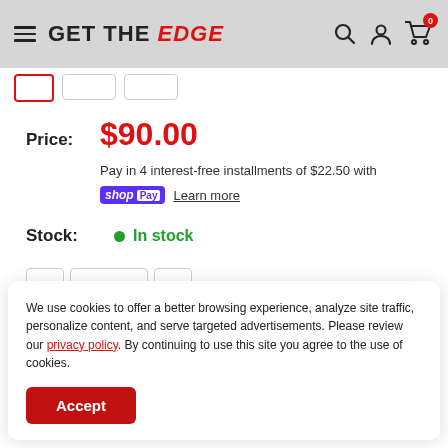GET THE EDGE
Price: $90.00
Pay in 4 interest-free installments of $22.50 with shop Pay Learn more
Stock: In stock
We use cookies to offer a better browsing experience, analyze site traffic, personalize content, and serve targeted advertisements. Please review our privacy policy. By continuing to use this site you agree to the use of cookies.
Accept